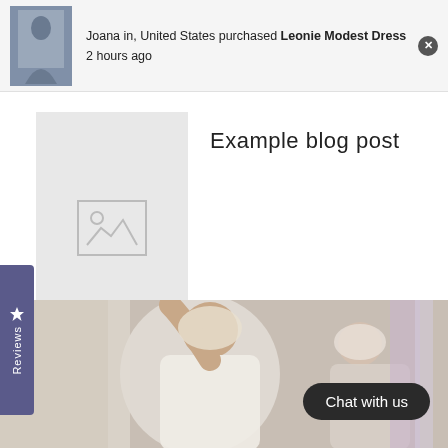Joana in, United States purchased Leonie Modest Dress
2 hours ago
Example blog post
[Figure (illustration): Blog post thumbnail placeholder with image icon]
Reviews
[Figure (photo): Two women in hijabs looking at fabric in a shop]
Chat with us